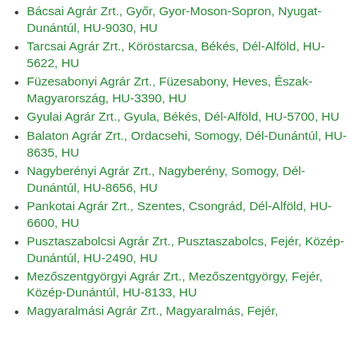Bácsai Agrár Zrt., Győr, Gyor-Moson-Sopron, Nyugat-Dunántúl, HU-9030, HU
Tarcsai Agrár Zrt., Köröstarcsa, Békés, Dél-Alföld, HU-5622, HU
Füzesabonyi Agrár Zrt., Füzesabony, Heves, Észak-Magyarország, HU-3390, HU
Gyulai Agrár Zrt., Gyula, Békés, Dél-Alföld, HU-5700, HU
Balaton Agrár Zrt., Ordacsehi, Somogy, Dél-Dunántúl, HU-8635, HU
Nagyberényi Agrár Zrt., Nagyberény, Somogy, Dél-Dunántúl, HU-8656, HU
Pankotai Agrár Zrt., Szentes, Csongrád, Dél-Alföld, HU-6600, HU
Pusztaszabolcsi Agrár Zrt., Pusztaszabolcs, Fejér, Közép-Dunántúl, HU-2490, HU
Mezőszentgyörgyi Agrár Zrt., Mezőszentgyörgy, Fejér, Közép-Dunántúl, HU-8133, HU
Magyaralmási Agrár Zrt., Magyaralmás, Fejér,